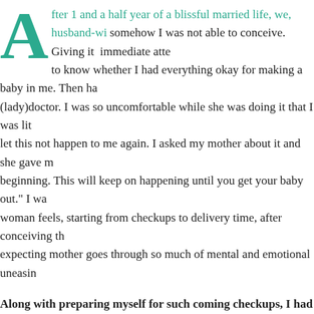After 1 and a half year of a blissful married life, we, husband-wife, somehow I was not able to conceive. Giving it immediate attention to know whether I had everything okay for making a baby in me. Then having a (lady)doctor. I was so uncomfortable while she was doing it that I was like let this not happen to me again. I asked my mother about it and she gave me the beginning. This will keep on happening until you get your baby out. I was woman feels, starting from checkups to delivery time, after conceiving, the expecting mother goes through so much of mental and emotional uneasiness.
Along with preparing myself for such coming checkups, I had one more thought: other body should look if I'm going to the doc? I'm not sure if I was the only one who had it at that time. I started keeping my legs and private area waxed and a blob of moisturizer over my body. Even I started thinking how should I look while giving birth. I had a big reasoning behind it as 'that area' was going to be present myself as a believer of extreme hygiene and cleanliness. But achieving...